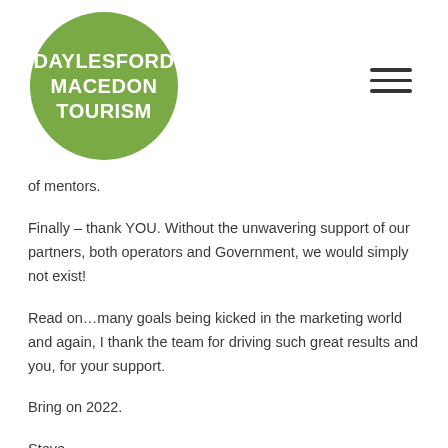[Figure (logo): Daylesford Macedon Tourism logo — white bold text on green circle]
of mentors.
Finally – thank YOU. Without the unwavering support of our partners, both operators and Government, we would simply not exist!
Read on…many goals being kicked in the marketing world and again, I thank the team for driving such great results and you, for your support.
Bring on 2022.
Steve